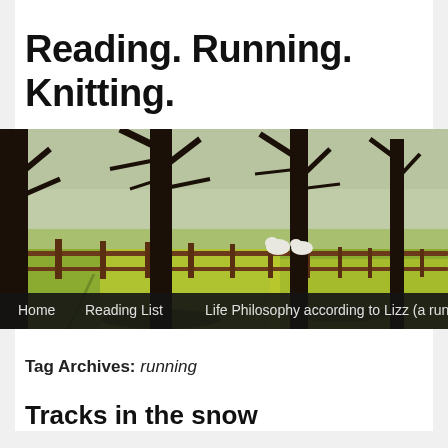Reading. Running. Knitting.
[Figure (photo): Outdoor scene with large bare trees in a row casting shadows on a grassy field, with a wooden fence running through the middle, and two sheep visible in the background. A navigation bar with white text on dark background at the bottom shows: Home, Reading List, Life Philosophy according to Lizz (a running l…]
Tag Archives: running
Tracks in the snow